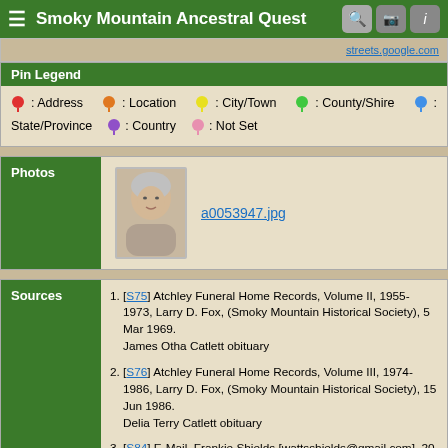Smoky Mountain Ancestral Quest
Pin Legend
: Address  : Location  : City/Town  : County/Shire  : State/Province  : Country  : Not Set
Photos
a0053947.jpg
Sources
[S75] Atchley Funeral Home Records, Volume II, 1955-1973, Larry D. Fox, (Smoky Mountain Historical Society), 5 Mar 1969. James Otha Catlett obituary
[S76] Atchley Funeral Home Records, Volume III, 1974-1986, Larry D. Fox, (Smoky Mountain Historical Society), 15 Jun 1986. Delia Terry Catlett obituary
[S84] E-Mail, Frankie Shields [wattsshields@gmail.com], 20 Jan 2008.
[S112] Census, 1920. Name: Dixie J Catlett Residence: , Sevier, Tennessee Estimated Birth Year: 1916